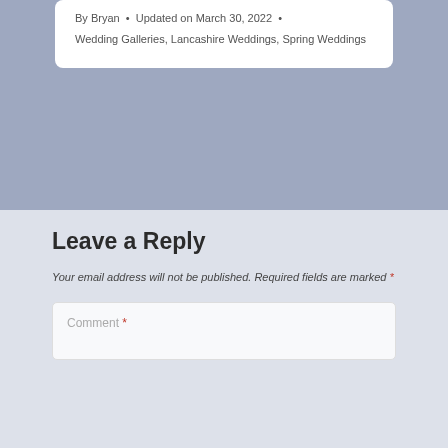By Bryan • Updated on March 30, 2022 • Wedding Galleries, Lancashire Weddings, Spring Weddings
Leave a Reply
Your email address will not be published. Required fields are marked *
Comment *